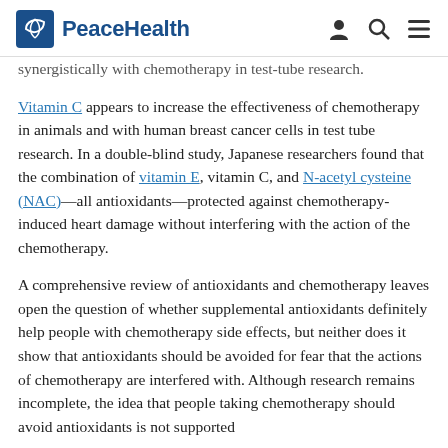PeaceHealth
synergistically with chemotherapy in test-tube research. Vitamin C appears to increase the effectiveness of chemotherapy in animals and with human breast cancer cells in test tube research. In a double-blind study, Japanese researchers found that the combination of vitamin E, vitamin C, and N-acetyl cysteine (NAC)—all antioxidants—protected against chemotherapy-induced heart damage without interfering with the action of the chemotherapy.
A comprehensive review of antioxidants and chemotherapy leaves open the question of whether supplemental antioxidants definitely help people with chemotherapy side effects, but neither does it show that antioxidants should be avoided for fear that the actions of chemotherapy are interfered with. Although research remains incomplete, the idea that people taking chemotherapy should avoid antioxidants is not supported by most if some research.